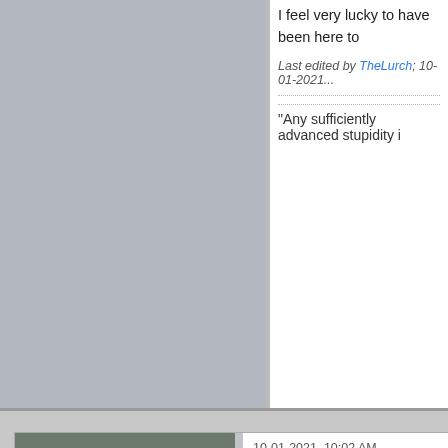I feel very lucky to have been here to...
Last edited by TheLurch; 10-01-2021...
"Any sufficiently advanced stupidity i...
[Figure (photo): Forum post with user avatar photo showing two people on horseback in military/ranger uniforms]
Cow Poke
See, the thing is...
Join Date: Jan 2014   Posts: 87027
Location: The Republic of Texas
Faith: Christian
Gender: Male
Amens Received: 4,972
Amens Given: 3,869
10-01-2021, 10:02 AM
Originally posted by TheLurch...